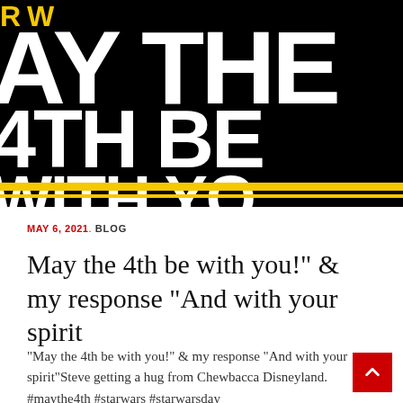[Figure (illustration): Star Wars themed banner image with bold white text on black background reading 'MAY THE 4TH BE WITH YOU' with yellow horizontal stripes at the bottom. Partial text is visible as if cropped.]
MAY 6, 2021. BLOG
May the 4th be with you!" & my response “And with your spirit
“May the 4th be with you!” & my response “And with your spirit”Steve getting a hug from Chewbacca Disneyland. #maythe4th #starwars #starwarsday